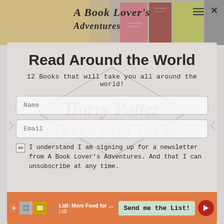[Figure (screenshot): Website header banner with book images and site title 'A Book Lover's Adventures']
Read Around the World
12 Books that will take you all around the world!
[Figure (screenshot): Name input field placeholder]
[Figure (screenshot): Email input field placeholder]
I understand I am signing up for a newsletter from A Book Lover's Adventures. And that I can unsubscribe at any time.
[Figure (screenshot): Lidl advertisement bar: 'Lidl: More Food for Less Money' with 'Send me the List!' button]